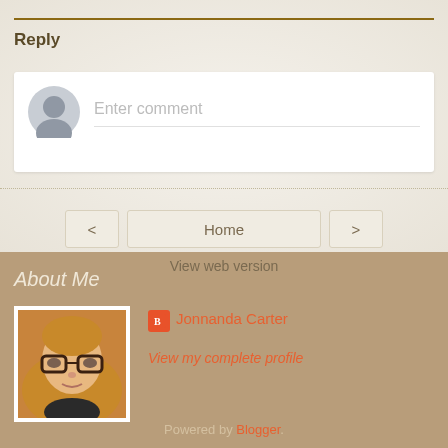Reply
[Figure (screenshot): Comment input box with avatar placeholder and 'Enter comment' placeholder text]
Home
View web version
About Me
[Figure (photo): Profile photo of a woman with glasses and blonde hair]
Jonnanda Carter
View my complete profile
Powered by Blogger.